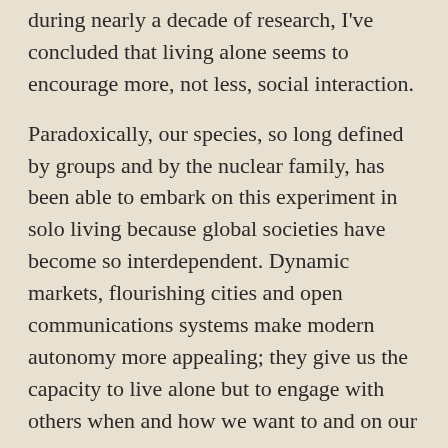during nearly a decade of research, I've concluded that living alone seems to encourage more, not less, social interaction.
Paradoxically, our species, so long defined by groups and by the nuclear family, has been able to embark on this experiment in solo living because global societies have become so interdependent. Dynamic markets, flourishing cities and open communications systems make modern autonomy more appealing; they give us the capacity to live alone but to engage with others when and how we want to and on our own terms.
In fact, living alone can make it easier to be social, because single people have more free time, absent family obligations, to engage in social activities.
....
Today five million people in the United States between ages 18 and 34 live alone, 10 times